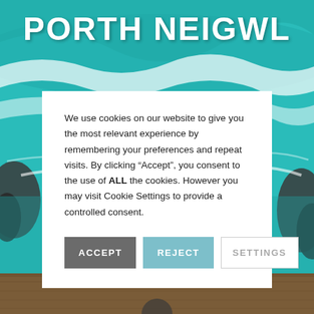[Figure (illustration): Teal/turquoise coastal beach background with waves, white foam, and dark rocks. Bottom portion shows a wooden surface texture. Decorative background for a website called Porth Neigwl.]
PORTH NEIGWL
We use cookies on our website to give you the most relevant experience by remembering your preferences and repeat visits. By clicking “Accept”, you consent to the use of ALL the cookies. However you may visit Cookie Settings to provide a controlled consent.
ACCEPT
REJECT
SETTINGS